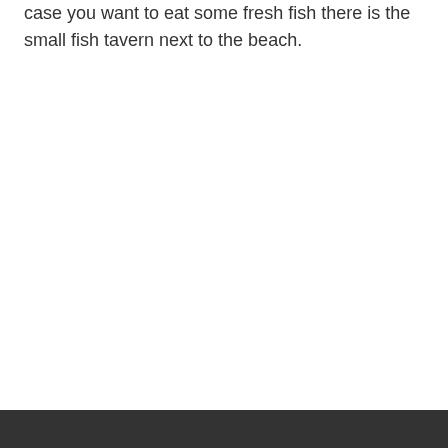case you want to eat some fresh fish there is the small fish tavern next to the beach.